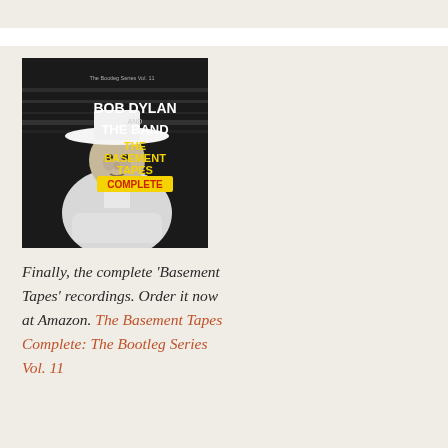[Figure (illustration): Album cover for Bob Dylan and The Band – The Basement Tapes Complete: The Bootleg Series Vol. 11. Black and white photo of Bob Dylan wearing a wide-brimmed white hat, leaning forward with arms crossed. Text on cover reads: The Bootleg Series Vol. 11, BOB DYLAN AND THE BAND, THE BASEMENT TAPES COMPLETE (in yellow).]
Finally, the complete 'Basement Tapes' recordings. Order it now at Amazon. The Basement Tapes Complete: The Bootleg Series Vol. 11